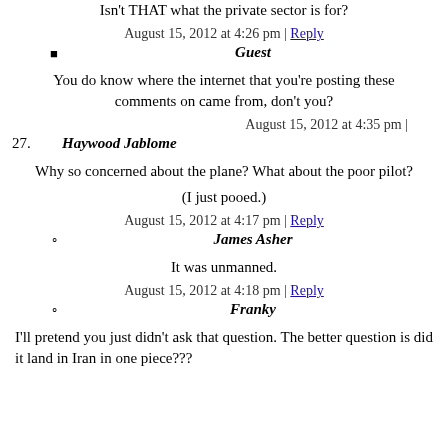Isn't THAT what the private sector is for?
August 15, 2012 at 4:26 pm | Reply
Guest
You do know where the internet that you're posting these comments on came from, don't you?
August 15, 2012 at 4:35 pm |
27. Haywood Jablome
Why so concerned about the plane? What about the poor pilot?
(I just pooed.)
August 15, 2012 at 4:17 pm | Reply
James Asher
It was unmanned.
August 15, 2012 at 4:18 pm | Reply
Franky
I'll pretend you just didn't ask that question. The better question is did it land in Iran in one piece???